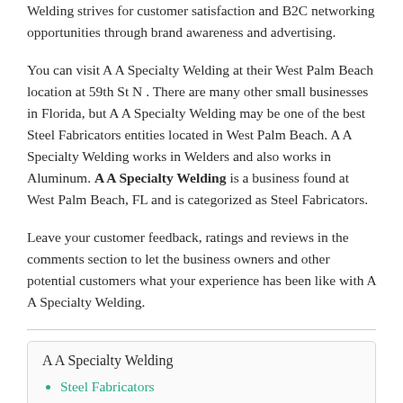Welding strives for customer satisfaction and B2C networking opportunities through brand awareness and advertising.
You can visit A A Specialty Welding at their West Palm Beach location at 59th St N . There are many other small businesses in Florida, but A A Specialty Welding may be one of the best Steel Fabricators entities located in West Palm Beach. A A Specialty Welding works in Welders and also works in Aluminum. A A Specialty Welding is a business found at West Palm Beach, FL and is categorized as Steel Fabricators.
Leave your customer feedback, ratings and reviews in the comments section to let the business owners and other potential customers what your experience has been like with A A Specialty Welding.
A A Specialty Welding
Steel Fabricators